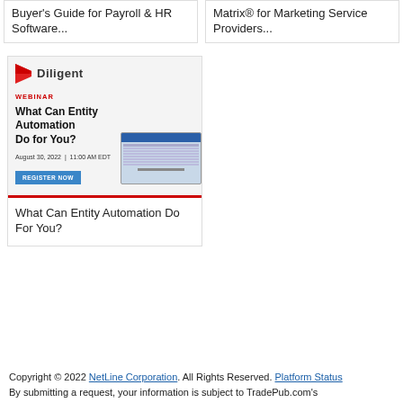Buyer's Guide for Payroll & HR Software...
Matrix® for Marketing Service Providers...
[Figure (screenshot): Diligent webinar promotional image showing logo, 'WEBINAR' label in red, title 'What Can Entity Automation Do for You?', date 'August 30, 2022 | 11:00 AM EDT', a blue 'REGISTER NOW' button, and a laptop screenshot on the right side. Red bar at bottom.]
What Can Entity Automation Do For You?
Copyright © 2022 NetLine Corporation. All Rights Reserved. Platform Status By submitting a request, your information is subject to TradePub.com's